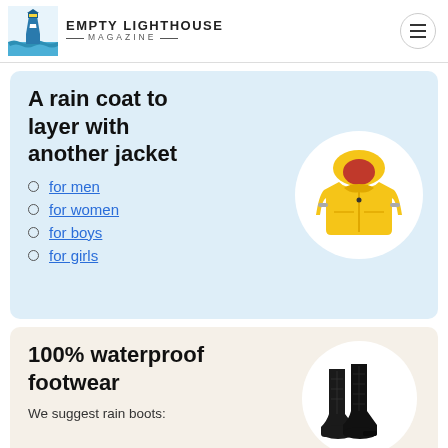EMPTY LIGHTHOUSE MAGAZINE
A rain coat to layer with another jacket
for men
for women
for boys
for girls
[Figure (illustration): Yellow children's rain jacket with hood and reflective strips]
100% waterproof footwear
We suggest rain boots:
[Figure (illustration): Black quilted rain boots pair]